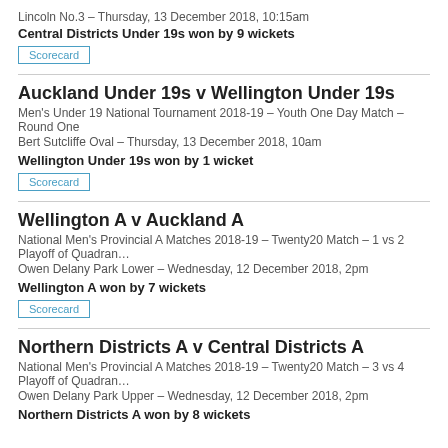Lincoln No.3 – Thursday, 13 December 2018, 10:15am
Central Districts Under 19s won by 9 wickets
Scorecard
Auckland Under 19s v Wellington Under 19s
Men's Under 19 National Tournament 2018-19 – Youth One Day Match – Round One
Bert Sutcliffe Oval – Thursday, 13 December 2018, 10am
Wellington Under 19s won by 1 wicket
Scorecard
Wellington A v Auckland A
National Men's Provincial A Matches 2018-19 – Twenty20 Match – 1 vs 2 Playoff of Quadran…
Owen Delany Park Lower – Wednesday, 12 December 2018, 2pm
Wellington A won by 7 wickets
Scorecard
Northern Districts A v Central Districts A
National Men's Provincial A Matches 2018-19 – Twenty20 Match – 3 vs 4 Playoff of Quadran…
Owen Delany Park Upper – Wednesday, 12 December 2018, 2pm
Northern Districts A won by 8 wickets